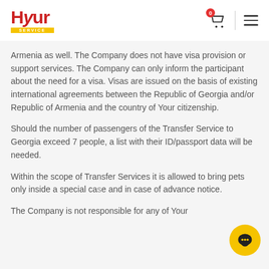Hyur Service
Armenia as well. The Company does not have visa provision or support services. The Company can only inform the participant about the need for a visa. Visas are issued on the basis of existing international agreements between the Republic of Georgia and/or Republic of Armenia and the country of Your citizenship.
Should the number of passengers of the Transfer Service to Georgia exceed 7 people, a list with their ID/passport data will be needed.
Within the scope of Transfer Services it is allowed to bring pets only inside a special case and in case of advance notice.
The Company is not responsible for any of Your